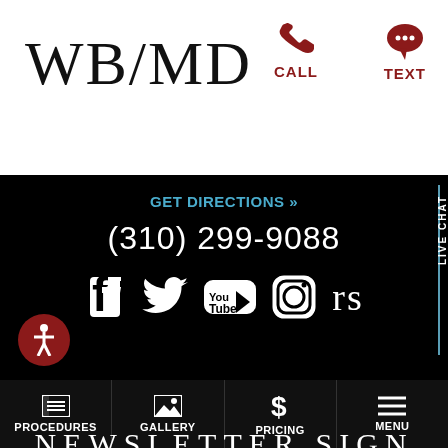WB/MD
CALL
TEXT
GET DIRECTIONS »
(310) 299-9088
[Figure (infographic): Social media icons: Facebook, Twitter, YouTube, Instagram, RealSelf (rs)]
NEWSLETTER SIGN UP
PROCEDURES  GALLERY  PRICING  MENU